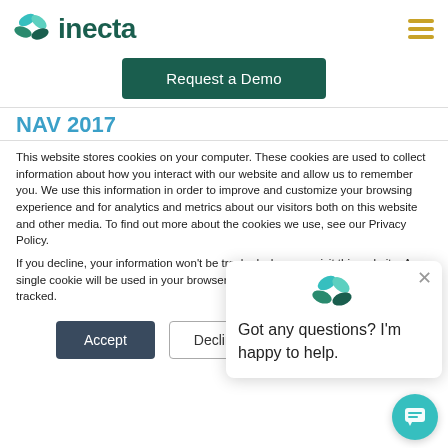[Figure (logo): Inecta logo with teal/green leaf icon and dark green text 'inecta']
[Figure (illustration): Hamburger menu icon with three gold/yellow horizontal bars]
Request a Demo
NAV 2017
This website stores cookies on your computer. These cookies are used to collect information about how you interact with our website and allow us to remember you. We use this information in order to improve and customize your browsing experience and for analytics and metrics about our visitors both on this website and other media. To find out more about the cookies we use, see our Privacy Policy.
If you decline, your information won't be tracked when you visit this website. A single cookie will be used in your browser to remember your preference not to be tracked.
Accept
Decline
[Figure (illustration): Chat popup with inecta logo and text 'Got any questions? I'm happy to help.' with X close button]
[Figure (illustration): Teal circular chat bubble button in bottom right corner]